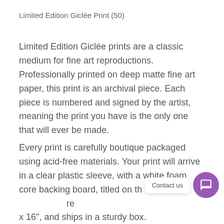Limited Edition Giclée Print (50)
Limited Edition Giclée prints are a classic medium for fine art reproductions. Professionally printed on deep matte fine art paper, this print is an archival piece. Each piece is numbered and signed by the artist, meaning the print you have is the only one that will ever be made.
Every print is carefully boutique packaged using acid-free materials. Your print will arrive in a clear plastic sleeve, with a white foam core backing board, titled on the [back, matted to] x 16", and ships in a sturdy box.